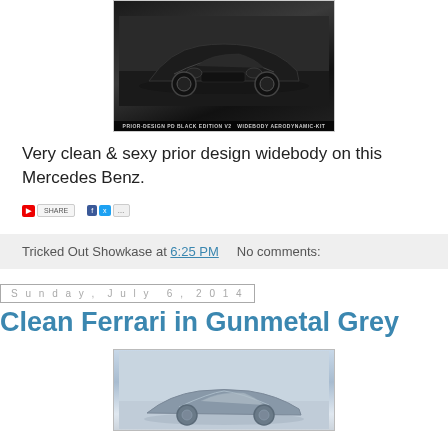[Figure (photo): Black Mercedes Benz with Prior-Design PD Black Edition V2 Widebody Aerodynamic Kit, front three-quarter view on dark background]
Very clean & sexy prior design widebody on this Mercedes Benz.
[Figure (screenshot): Social sharing bar with YouTube, Share, Facebook, Twitter and other social buttons]
Tricked Out Showkase at 6:25 PM    No comments:
Sunday, July 6, 2014
Clean Ferrari in Gunmetal Grey
[Figure (photo): Ferrari in gunmetal grey color, partial view showing front of car against light grey/sky background]